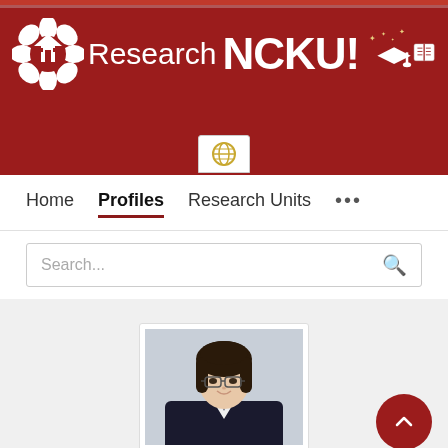[Figure (logo): Research NCKU! university portal banner with logo, graduation cap, and book icons on dark red background]
Home   Profiles   Research Units   ...
Search...
[Figure (photo): Professional headshot photo of a woman with short black hair and glasses, wearing a dark blazer over white shirt, smiling]